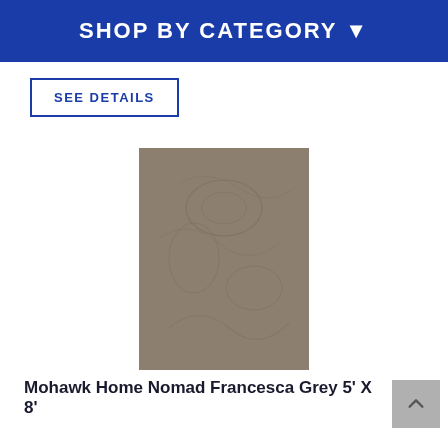SHOP BY CATEGORY ▾
SEE DETAILS
[Figure (photo): A grey area rug (Mohawk Home Nomad Francesca Grey) with subtle textured pattern, rectangular shape, displayed on white background.]
Mohawk Home Nomad Francesca Grey 5' X 8'